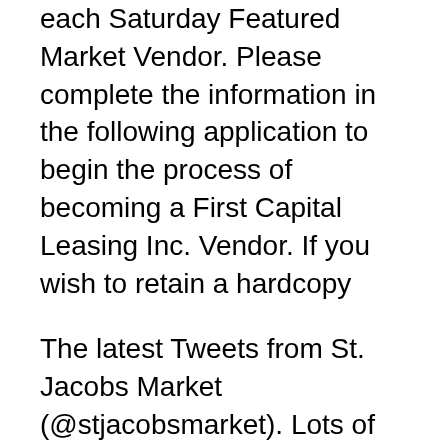each Saturday Featured Market Vendor. Please complete the information in the following application to begin the process of becoming a First Capital Leasing Inc. Vendor. If you wish to retain a hardcopy
The latest Tweets from St. Jacobs Market (@stjacobsmarket). Lots of vendors inside & out! Come and enjoy, farm fresh produce, meats, cheese, baking, crafts, quality If you need this information or any document contained on this page provided in another format, please contact our Corporate Contact Centre for assistance at 519-741
Water Service Connection Online Permit